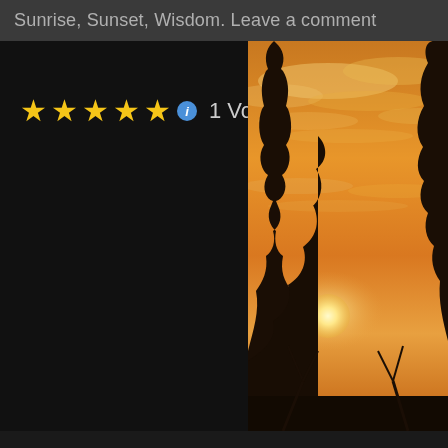Sunrise, Sunset, Wisdom. Leave a comment
★★★★★ ⓘ 1 Vote
[Figure (photo): Sunset photo showing an orange and golden sky with clouds, tree silhouettes in the foreground, and the sun visible low on the horizon.]